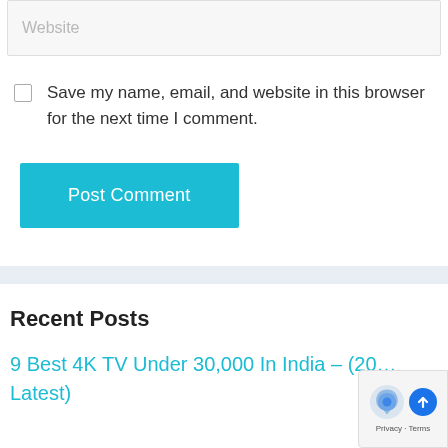Website
Save my name, email, and website in this browser for the next time I comment.
Post Comment
Recent Posts
9 Best 4K TV Under 30,000 In India – (20… Latest)